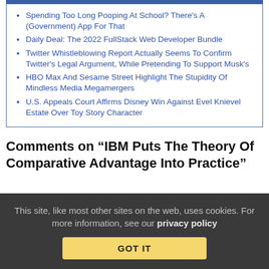Spending Too Long Pooping At School? There’s A (Government) App For That
Daily Deal: The 2022 FullStack Web Developer Bundle
Twitter Whistleblowing Report Actually Seems To Confirm Twitter’s Legal Argument, While Pretending To Support Musk’s
HBO Max And Sesame Street Highlight The Stupidity Of Mindless Media Megamergers
U.S. Appeals Court Affirms Disney Win Against Evel Knievel Estate Over Toy Story Character
Comments on “IBM Puts The Theory Of Comparative Advantage Into Practice”
This site, like most other sites on the web, uses cookies. For more information, see our privacy policy GOT IT